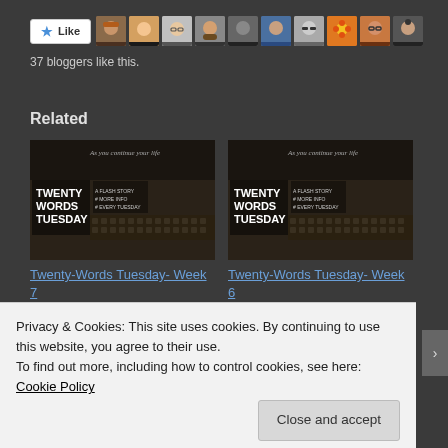[Figure (other): Like button with star icon and a row of 10 blogger avatar thumbnails]
37 bloggers like this.
Related
[Figure (photo): Twenty Words Tuesday promotional image with typewriter background - Week 7]
[Figure (photo): Twenty Words Tuesday promotional image with typewriter background - Week 6]
Twenty-Words Tuesday- Week 7
Twenty-Words Tuesday- Week 6
Privacy & Cookies: This site uses cookies. By continuing to use this website, you agree to their use.
To find out more, including how to control cookies, see here: Cookie Policy